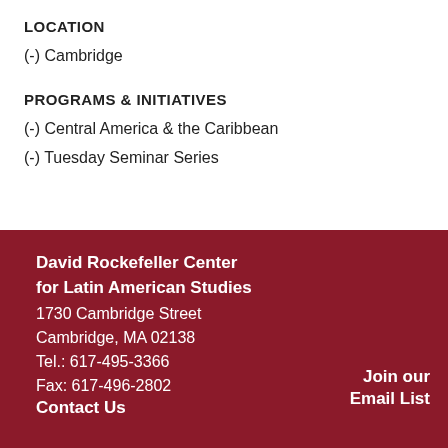LOCATION
(-) Cambridge
PROGRAMS & INITIATIVES
(-) Central America & the Caribbean
(-) Tuesday Seminar Series
David Rockefeller Center for Latin American Studies
1730 Cambridge Street
Cambridge, MA 02138
Tel.: 617-495-3366
Fax: 617-496-2802
Contact Us
Join our Email List